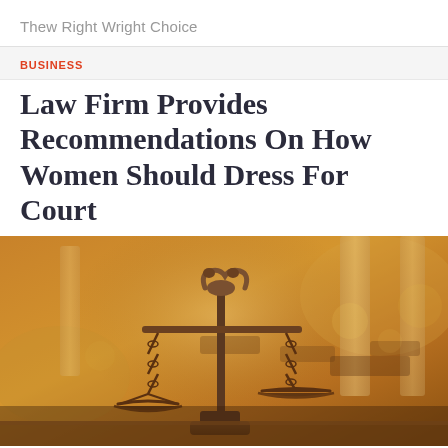Thew Right Wright Choice
BUSINESS
Law Firm Provides Recommendations On How Women Should Dress For Court
[Figure (photo): Bronze scales of justice statue in a courtroom with warm golden bokeh background, wooden benches visible in the background]